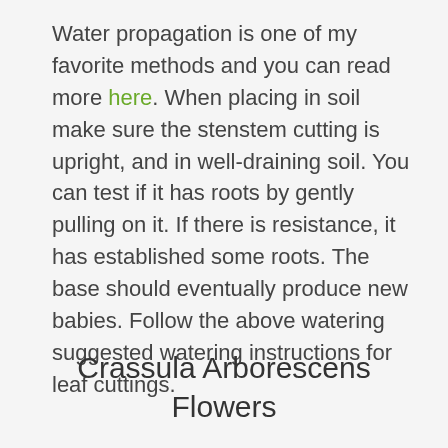Water propagation is one of my favorite methods and you can read more here. When placing in soil make sure the stenstem cutting is upright, and in well-draining soil. You can test if it has roots by gently pulling on it. If there is resistance, it has established some roots. The base should eventually produce new babies. Follow the above watering suggested watering instructions for leaf cuttings.
Crassula Arborescens Flowers